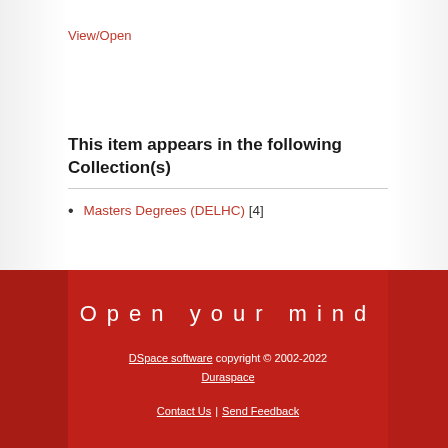View/Open
This item appears in the following Collection(s)
Masters Degrees (DELHC) [4]
Open your mind
DSpace software copyright © 2002-2022
Duraspace
Contact Us | Send Feedback